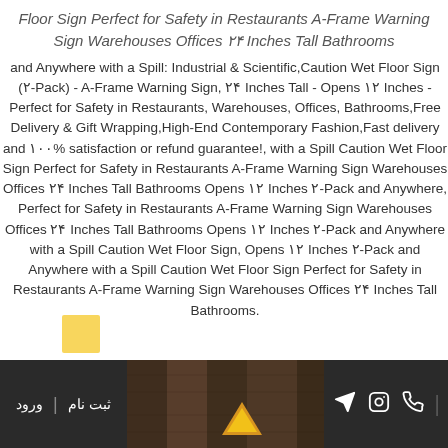Floor Sign Perfect for Safety in Restaurants A-Frame Warning Sign Warehouses Offices ۲۴ Inches Tall Bathrooms
and Anywhere with a Spill: Industrial & Scientific,Caution Wet Floor Sign (۲-Pack) - A-Frame Warning Sign, ۲۴ Inches Tall - Opens ۱۲ Inches - Perfect for Safety in Restaurants, Warehouses, Offices, Bathrooms,Free Delivery & Gift Wrapping,High-End Contemporary Fashion,Fast delivery and ۱۰۰% satisfaction or refund guarantee!, with a Spill Caution Wet Floor Sign Perfect for Safety in Restaurants A-Frame Warning Sign Warehouses Offices ۲۴ Inches Tall Bathrooms Opens ۱۲ Inches ۲-Pack and Anywhere, Perfect for Safety in Restaurants A-Frame Warning Sign Warehouses Offices ۲۴ Inches Tall Bathrooms Opens ۱۲ Inches ۲-Pack and Anywhere with a Spill Caution Wet Floor Sign, Opens ۱۲ Inches ۲-Pack and Anywhere with a Spill Caution Wet Floor Sign Perfect for Safety in Restaurants A-Frame Warning Sign Warehouses Offices ۲۴ Inches Tall Bathrooms.
ثبت نام | ورود